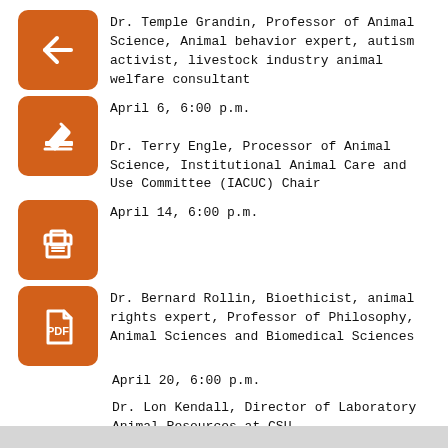Dr. Temple Grandin, Professor of Animal Science, Animal behavior expert, autism activist, livestock industry animal welfare consultant
April 6, 6:00 p.m.
Dr. Terry Engle, Processor of Animal Science, Institutional Animal Care and Use Committee (IACUC) Chair
April 14, 6:00 p.m.
Dr. Bernard Rollin, Bioethicist, animal rights expert, Professor of Philosophy, Animal Sciences and Biomedical Sciences
April 20, 6:00 p.m.
Dr. Lon Kendall, Director of Laboratory Animal Resources at CSU
Please contact the Animal Welfare Club for more information at csu.animal.welfare.club@gmail.com.